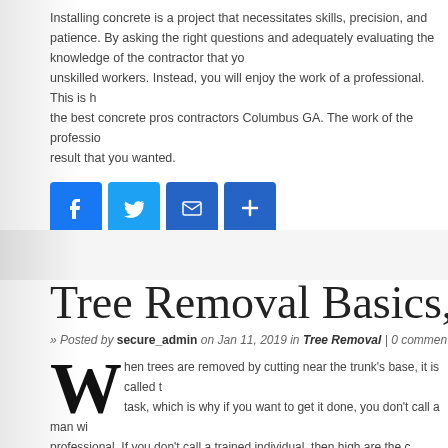Installing concrete is a project that necessitates skills, precision, and patience. By asking the right questions and adequately evaluating the knowledge of the contractor that you hire, you won't get unskilled workers. Instead, you will enjoy the work of a professional. This is how you will be getting the best concrete pros contractors Columbus GA. The work of the professional will bring you the result that you wanted.
[Figure (infographic): Social sharing buttons: Facebook (blue), Twitter (blue), Email (blue envelope), Share/Add (blue plus)]
Tree Removal Basics, T…
» Posted by secure_admin on Jan 11, 2019 in Tree Removal | 0 comments
When trees are removed by cutting near the trunk's base, it is called t… task, which is why if you want to get it done, you don't call a man wi… professional. If you don't call a trained individual, then high are the c… which means property damage, personal injury, or both, may happen.
Removing a tree requires meticulous planning and flawless execution. There… the professionals know about. This is the reason it's important that you hire t…